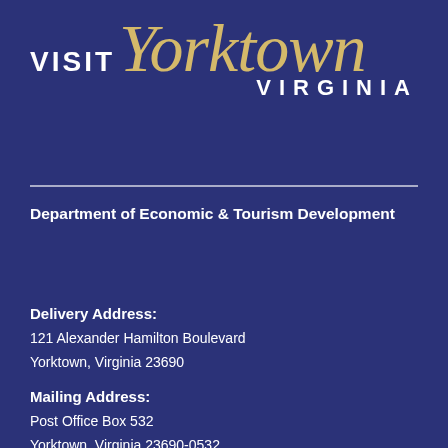VISIT Yorktown VIRGINIA
Department of Economic & Tourism Development
Delivery Address:
121 Alexander Hamilton Boulevard
Yorktown, Virginia 23690
Mailing Address:
Post Office Box 532
Yorktown, Virginia 23690-0532